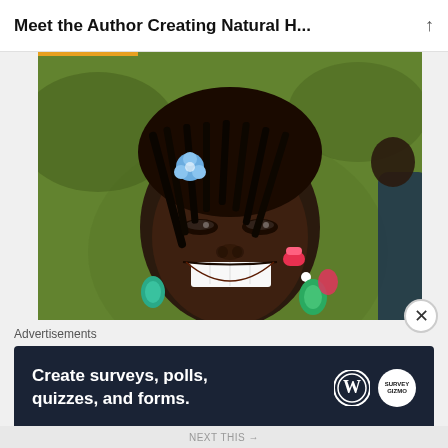Meet the Author Creating Natural H...
[Figure (photo): A smiling young Black girl with braids and colorful accessories, wearing a yellow floral top, holding a children's book titled 'My Curly Coily Crown'. Background is green grass.]
Advertisements
[Figure (screenshot): Dark blue advertisement banner reading 'Create surveys, polls, quizzes, and forms.' with WordPress logo and a circular Survey logo on the right.]